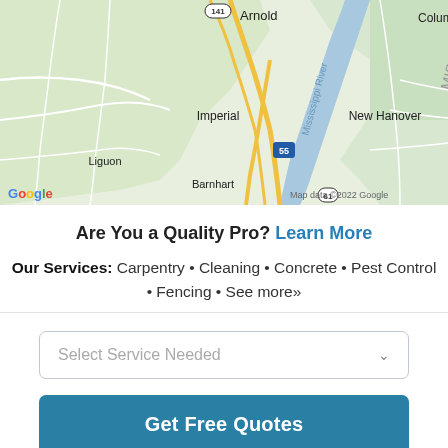[Figure (map): Google Maps view showing Missouri/Illinois border area with Mississippi River, showing locations: Arnold (141), Imperial, Liguon, Barnhart, Fountain, New Hanover, Columbia. Roads including I-55 and 61 visible. Google logo and 'Map data ©2022 Google' attribution shown.]
Are You a Quality Pro? Learn More
Our Services: Carpentry • Cleaning • Concrete • Pest Control • Fencing • See more»
Select Service Needed
Get Free Quotes